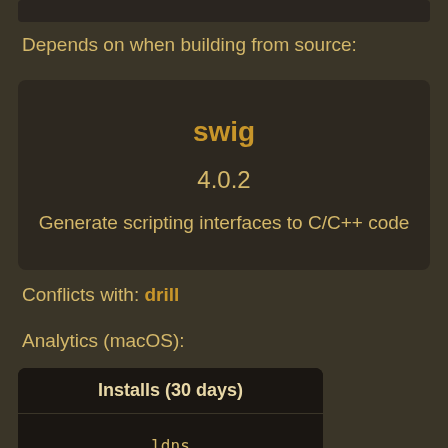[Figure (screenshot): Top dark bar clipped at top of page]
Depends on when building from source:
[Figure (infographic): Dark box showing package: swig, version 4.0.2, description: Generate scripting interfaces to C/C++ code]
Conflicts with: drill
Analytics (macOS):
| Installs (30 days) |
| --- |
| ldns |
| 19,798 |